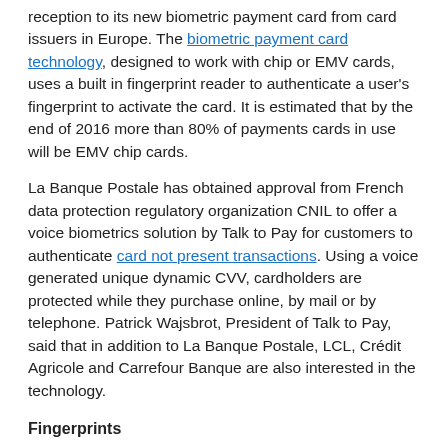reception to its new biometric payment card from card issuers in Europe. The biometric payment card technology, designed to work with chip or EMV cards, uses a built in fingerprint reader to authenticate a user's fingerprint to activate the card. It is estimated that by the end of 2016 more than 80% of payments cards in use will be EMV chip cards.
La Banque Postale has obtained approval from French data protection regulatory organization CNIL to offer a voice biometrics solution by Talk to Pay for customers to authenticate card not present transactions. Using a voice generated unique dynamic CVV, cardholders are protected while they purchase online, by mail or by telephone. Patrick Wajsbrot, President of Talk to Pay, said that in addition to La Banque Postale, LCL, Crédit Agricole and Carrefour Banque are also interested in the technology.
Fingerprints
AMREL announced this week that the FBI has certified its XP7-ID rugged biometric handheld. AMREL developed the XP7-ID in cooperation with Integrated Biometrics. Fingerprints are captured by Sherlock, an Integrated Biometrics module which utilizes a